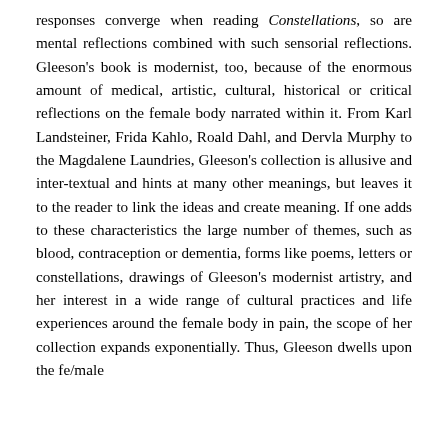responses converge when reading Constellations, so are mental reflections combined with such sensorial reflections. Gleeson's book is modernist, too, because of the enormous amount of medical, artistic, cultural, historical or critical reflections on the female body narrated within it. From Karl Landsteiner, Frida Kahlo, Roald Dahl, and Dervla Murphy to the Magdalene Laundries, Gleeson's collection is allusive and inter-textual and hints at many other meanings, but leaves it to the reader to link the ideas and create meaning. If one adds to these characteristics the large number of themes, such as blood, contraception or dementia, forms like poems, letters or constellations, drawings of Gleeson's modernist artistry, and her interest in a wide range of cultural practices and life experiences around the female body in pain, the scope of her collection expands exponentially. Thus, Gleeson dwells upon the fe/male